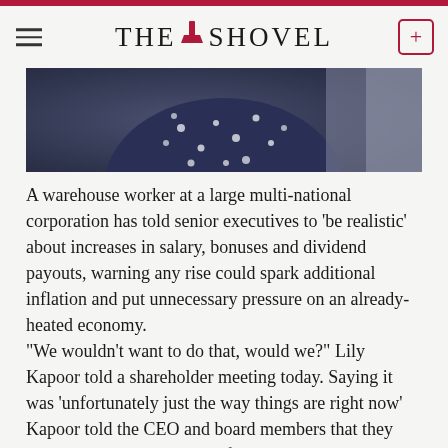THE SHOVEL
[Figure (photo): Person wearing a dark navy blue polka dot dress or top, photographed from roughly chest/shoulder level, with a blurred background]
A warehouse worker at a large multi-national corporation has told senior executives to ‘be realistic’ about increases in salary, bonuses and dividend payouts, warning any rise could spark additional inflation and put unnecessary pressure on an already-heated economy.
“We wouldn’t want to do that, would we?” Lily Kapoor told a shareholder meeting today. Saying it was ‘unfortunately just the way things are right now’ Kapoor told the CEO and board members that they would need to keep any profit and salary rises to under one percent. “Anything more than that is going to put extra pressure on inflation and extra stress on already struggling businesses. I worry, as